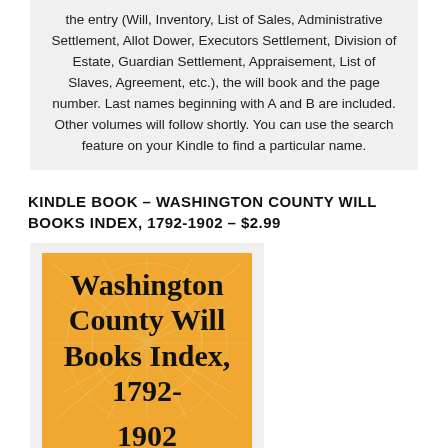the entry (Will, Inventory, List of Sales, Administrative Settlement, Allot Dower, Executors Settlement, Division of Estate, Guardian Settlement, Appraisement, List of Slaves, Agreement, etc.), the will book and the page number. Last names beginning with A and B are included. Other volumes will follow shortly. You can use the search feature on your Kindle to find a particular name.
KINDLE BOOK – WASHINGTON COUNTY WILL BOOKS INDEX, 1792-1902 – $2.99
[Figure (illustration): Book cover for 'Washington County Will Books Index, 1792-1902' with orange/yellow background and decorative branch/tree pattern]